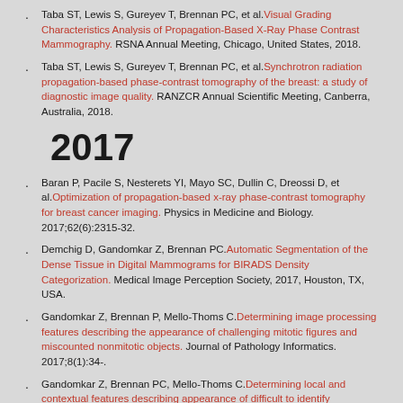Taba ST, Lewis S, Gureyev T, Brennan PC, et al. Visual Grading Characteristics Analysis of Propagation-Based X-Ray Phase Contrast Mammography. RSNA Annual Meeting, Chicago, United States, 2018.
Taba ST, Lewis S, Gureyev T, Brennan PC, et al. Synchrotron radiation propagation-based phase-contrast tomography of the breast: a study of diagnostic image quality. RANZCR Annual Scientific Meeting, Canberra, Australia, 2018.
2017
Baran P, Pacile S, Nesterets YI, Mayo SC, Dullin C, Dreossi D, et al. Optimization of propagation-based x-ray phase-contrast tomography for breast cancer imaging. Physics in Medicine and Biology. 2017;62(6):2315-32.
Demchig D, Gandomkar Z, Brennan PC. Automatic Segmentation of the Dense Tissue in Digital Mammograms for BIRADS Density Categorization. Medical Image Perception Society, 2017, Houston, TX, USA.
Gandomkar Z, Brennan P, Mello-Thoms C. Determining image processing features describing the appearance of challenging mitotic figures and miscounted nonmitotic objects. Journal of Pathology Informatics. 2017;8(1):34-.
Gandomkar Z, Brennan PC, Mello-Thoms C. Determining local and contextual features describing appearance of difficult to identify mitotic figures. MIPS Medical Image Perception, 2017-2017.